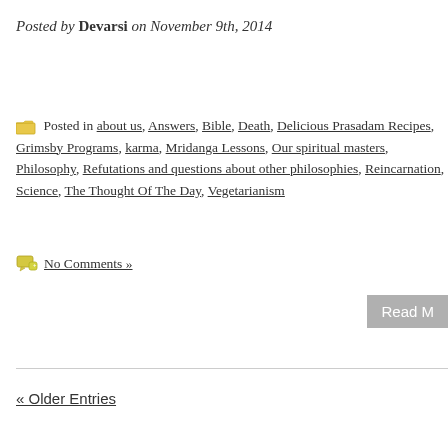Posted by Devarsi on November 9th, 2014
Posted in about us, Answers, Bible, Death, Delicious Prasadam Recipes, Grimsby Programs, karma, Mridanga Lessons, Our spiritual masters, Philosophy, Refutations and questions about other philosophies, Reincarnation, Science, The Thought Of The Day, Vegetarianism   No Comments »
Read M
« Older Entries